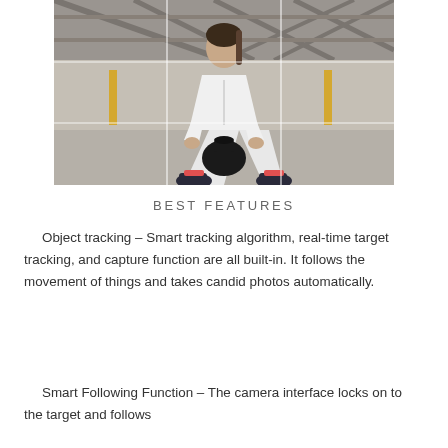[Figure (photo): A woman in a white athletic jacket crouching down and holding a kettlebell on a rooftop parking area. The image has a rule-of-thirds grid overlay with white lines dividing it into nine sections.]
BEST FEATURES
Object tracking – Smart tracking algorithm, real-time target tracking, and capture function are all built-in. It follows the movement of things and takes candid photos automatically.
Smart Following Function – The camera interface locks on to the target and follows